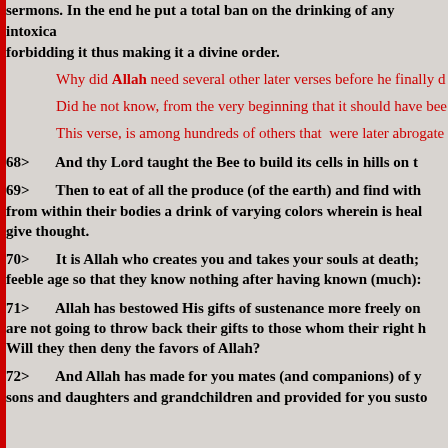sermons. In the end he put a total ban on the drinking of any intoxica forbidding it thus making it a divine order.
Why did Allah need several other later verses before he finally d
Did he not know, from the very beginning that it should have bee
This verse, is among hundreds of others that were later abrogate
68> And thy Lord taught the Bee to build its cells in hills on t
69> Then to eat of all the produce (of the earth) and find with from within their bodies a drink of varying colors wherein is heal give thought.
70> It is Allah who creates you and takes your souls at death; feeble age so that they know nothing after having known (much):
71> Allah has bestowed His gifts of sustenance more freely on are not going to throw back their gifts to those whom their right h Will they then deny the favors of Allah?
72> And Allah has made for you mates (and companions) of y sons and daughters and grandchildren and provided for you susto